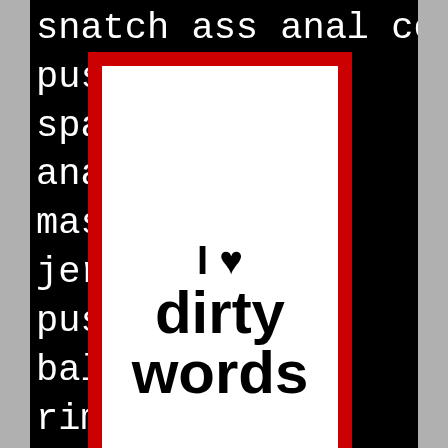[Figure (illustration): A black background image covered with white typewriter-font dirty/vulgar words (snatch, ass, anal, cock, cunt, fuck, pussy, tits, spanking, moan, masturbate, jerk off, cum, etc.) with a centered white card framed in red border containing the text 'I ♥ dirty words' in bold black font.]
Archives
Select Month